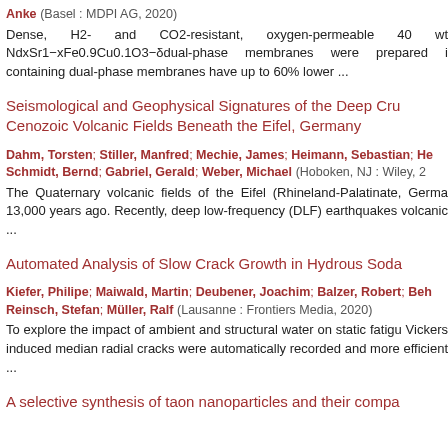Anke (Basel : MDPI AG, 2020)
Dense, H2- and CO2-resistant, oxygen-permeable 40 wt NdxSr1−xFe0.9Cu0.1O3−δdual-phase membranes were prepared i containing dual-phase membranes have up to 60% lower ...
Seismological and Geophysical Signatures of the Deep Cru Cenozoic Volcanic Fields Beneath the Eifel, Germany
Dahm, Torsten; Stiller, Manfred; Mechie, James; Heimann, Sebastian; He Schmidt, Bernd; Gabriel, Gerald; Weber, Michael (Hoboken, NJ : Wiley, 2
The Quaternary volcanic fields of the Eifel (Rhineland-Palatinate, Germa 13,000 years ago. Recently, deep low-frequency (DLF) earthquakes volcanic ...
Automated Analysis of Slow Crack Growth in Hydrous Soda
Kiefer, Philipe; Maiwald, Martin; Deubener, Joachim; Balzer, Robert; Beh Reinsch, Stefan; Müller, Ralf (Lausanne : Frontiers Media, 2020)
To explore the impact of ambient and structural water on static fatigu Vickers induced median radial cracks were automatically recorded and more efficient ...
A selective synthesis of taon nanoparticles and their compa